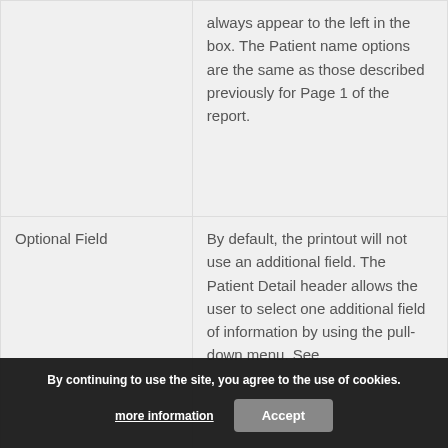| Field | Description |
| --- | --- |
| Patient Name | The patient name will always appear to the left in the box. The Patient name options are the same as those described previously for Page 1 of the report. |
| Optional Field | By default, the printout will not use an additional field. The Patient Detail header allows the user to select one additional field of information by using the pull-down menu. See |
By continuing to use the site, you agree to the use of cookies. more information Accept